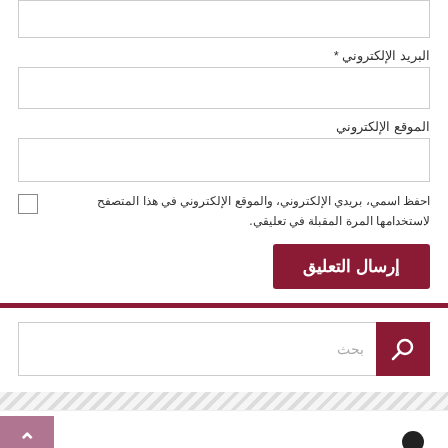البريد الإلكتروني *
الموقع الإلكتروني
احفظ اسمي، بريدي الإلكتروني، والموقع الإلكتروني في هذا المتصفح لاستخدامها المرة المقبلة في تعليقي.
إرسال التعليق
بحث
^